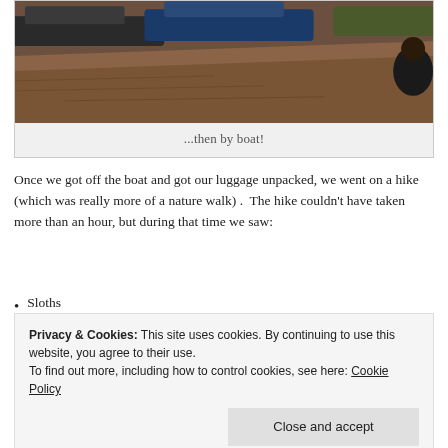[Figure (photo): River bank with boats moored, muddy shoreline, person visible on right side]
...then by boat!
Once we got off the boat and got our luggage unpacked, we went on a hike (which was really more of a nature walk) .  The hike couldn't have taken more than an hour, but during that time we saw:
Sloths
Privacy & Cookies: This site uses cookies. By continuing to use this website, you agree to their use.
To find out more, including how to control cookies, see here: Cookie Policy
Tons of cool plants